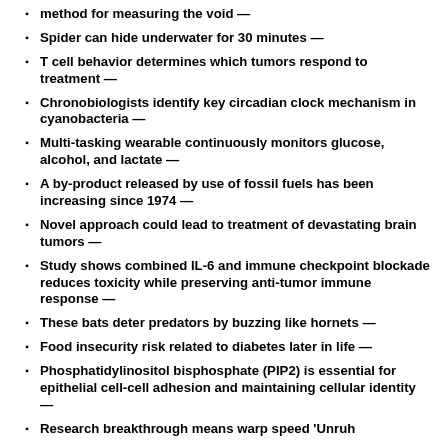method for measuring the void —
Spider can hide underwater for 30 minutes —
T cell behavior determines which tumors respond to treatment —
Chronobiologists identify key circadian clock mechanism in cyanobacteria —
Multi-tasking wearable continuously monitors glucose, alcohol, and lactate —
A by-product released by use of fossil fuels has been increasing since 1974 —
Novel approach could lead to treatment of devastating brain tumors —
Study shows combined IL-6 and immune checkpoint blockade reduces toxicity while preserving anti-tumor immune response —
These bats deter predators by buzzing like hornets —
Food insecurity risk related to diabetes later in life —
Phosphatidylinositol bisphosphate (PIP2) is essential for epithelial cell-cell adhesion and maintaining cellular identity —
Research breakthrough means warp speed 'Unruh